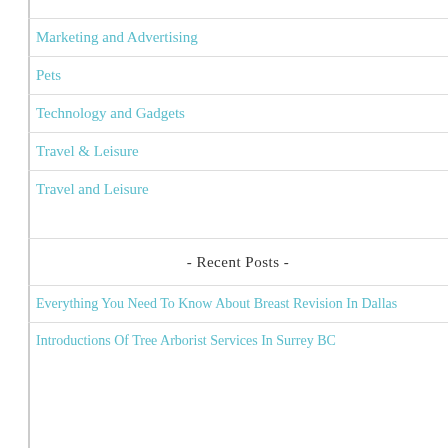Marketing and Advertising
Pets
Technology and Gadgets
Travel & Leisure
Travel and Leisure
- Recent Posts -
Everything You Need To Know About Breast Revision In Dallas
Introductions Of Tree Arborist Services In Surrey BC